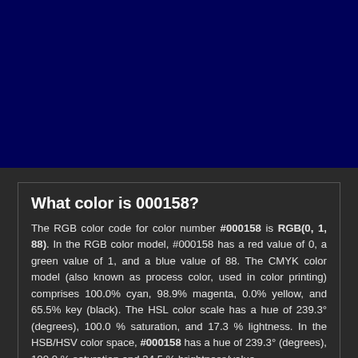[Figure (other): A solid color swatch displaying the color #000158, a very dark navy blue, filling the upper portion of the page.]
What color is 000158?
The RGB color code for color number #000158 is RGB(0, 1, 88). In the RGB color model, #000158 has a red value of 0, a green value of 1, and a blue value of 88. The CMYK color model (also known as process color, used in color printing) comprises 100.0% cyan, 98.9% magenta, 0.0% yellow, and 65.5% key (black). The HSL color scale has a hue of 239.3° (degrees), 100.0 % saturation, and 17.3 % lightness. In the HSB/HSV color space, #000158 has a hue of 239.3° (degrees), 100.0 % saturation and 34.5 % brightness/value.